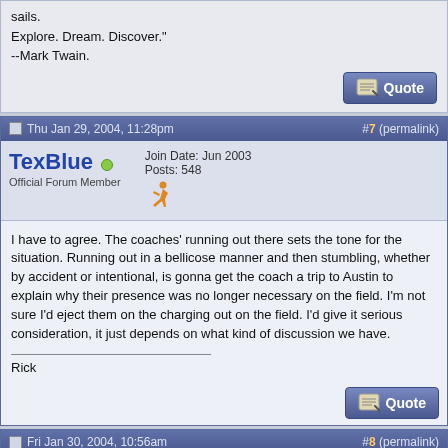sails.
Explore. Dream. Discover."
--Mark Twain.
Thu Jan 29, 2004, 11:28pm   #7 (permalink)
TexBlue • Official Forum Member
Join Date: Jun 2003
Posts: 548
I have to agree. The coaches' running out there sets the tone for the situation. Running out in a bellicose manner and then stumbling, whether by accident or intentional, is gonna get the coach a trip to Austin to explain why their presence was no longer necessary on the field. I'm not sure I'd eject them on the charging out on the field. I'd give it serious consideration, it just depends on what kind of discussion we have.
____________________
Rick
Fri Jan 30, 2004, 10:56am   #8 (permalink)
Andy • Official Forum Member
Join Date: Jan 2002
Location: Glendale, AZ
Posts: 2,672
Quote: